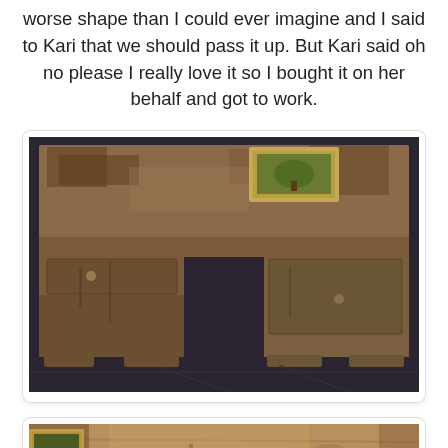worse shape than I could ever imagine and I said to Kari that we should pass it up. But Kari said oh no please I really love it so I bought it on her behalf and got to work.
[Figure (photo): An old, heavily worn wooden desk with a distressed surface showing peeling finish, two side cabinets, a center drawer, and a knee hole. A small framed picture sits on the top surface. The desk is on a dark floor.]
[Figure (photo): Close-up of the worn wooden surface of the same antique desk, showing the heavily distressed and peeling finish with wood grain visible and dark stains.]